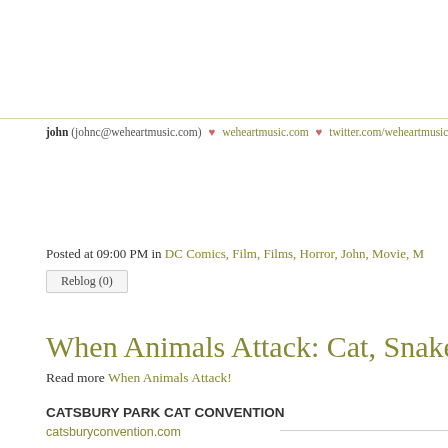john (johnc@weheartmusic.com) ♥ weheartmusic.com ♥ twitter.com/weheartmusic
Posted at 09:00 PM in DC Comics, Film, Films, Horror, John, Movie, M
Reblog (0)
When Animals Attack: Cat, Snake, and Flying Fi
Read more When Animals Attack!
CATSBURY PARK CAT CONVENTION
catsburyconvention.com